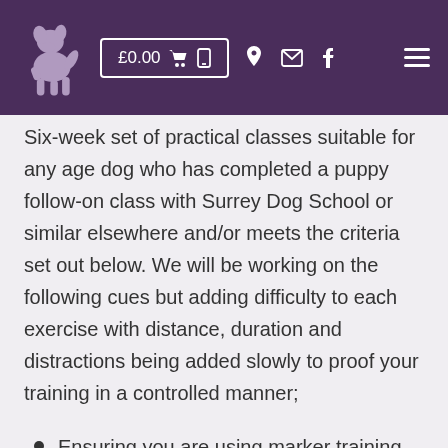£0.00 [cart] [mobile] [location] [mail] [facebook] [menu]
Six-week set of practical classes suitable for any age dog who has completed a puppy follow-on class with Surrey Dog School or similar elsewhere and/or meets the criteria set out below. We will be working on the following cues but adding difficulty to each exercise with distance, duration and distractions being added slowly to proof your training in a controlled manner;
Ensuring you are using marker training effectively, your dog is responding to their name effectively in all